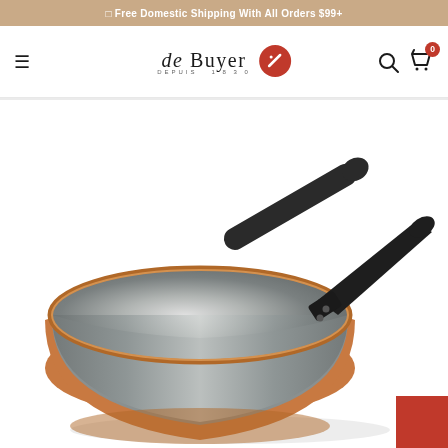□ Free Domestic Shipping With All Orders $99+
[Figure (logo): de Buyer logo with red circle icon and text 'depuis 1830']
[Figure (photo): Copper sauté pan with stainless steel interior and black cast iron handle, viewed from above at an angle showing the bowl-shaped interior]